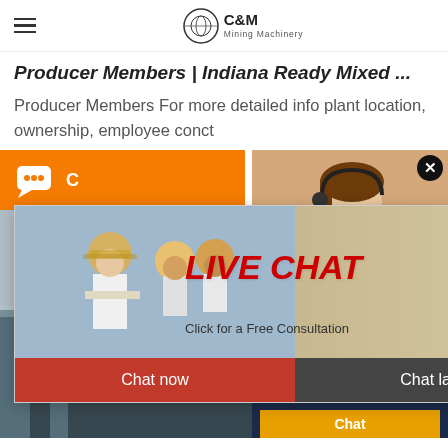C&M Mining Machinery
Producer Members | Indiana Ready Mixed ...
Producer Members For more detailed info plant location, ownership, employee conct
[Figure (screenshot): Live chat popup overlay showing workers in hard hats, LIVE CHAT text in red, 'Click for a Free Consultation', Chat now and Chat later buttons]
[Figure (photo): Industrial machinery photo showing pipes and industrial equipment against a grey sky with a chimney in the background]
[Figure (screenshot): Right sidebar with dark navy background showing a customer service representative photo, requests text, Quotation button, Enquiry text, email drobilkalm@gmail.com, and Chat button]